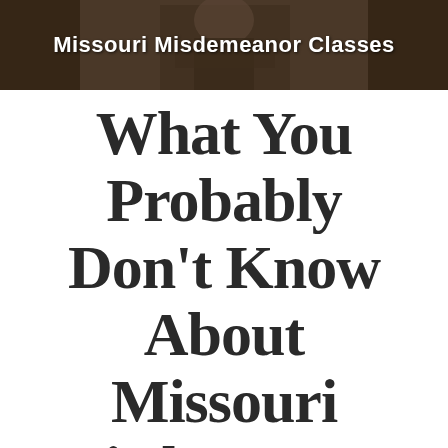[Figure (photo): Header image showing a person in a dark suit with arms crossed, with a dark brown/wood-toned background. Text overlay reads 'Missouri Misdemeanor Classes'.]
What You Probably Don't Know About Missouri Misdemeanor